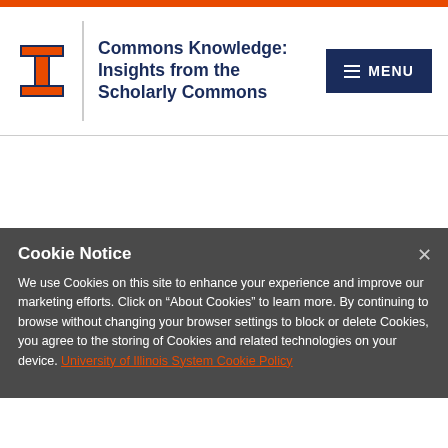[Figure (logo): University of Illinois Block I logo in orange and navy, with vertical divider and site title 'Commons Knowledge: Insights from the Scholarly Commons' in navy bold text, and a MENU button in navy blue]
Commons Knowledge: Insights from the Scholarly Commons
Cookie Notice
We use Cookies on this site to enhance your experience and improve our marketing efforts. Click on "About Cookies" to learn more. By continuing to browse without changing your browser settings to block or delete Cookies, you agree to the storing of Cookies and related technologies on your device. University of Illinois System Cookie Policy